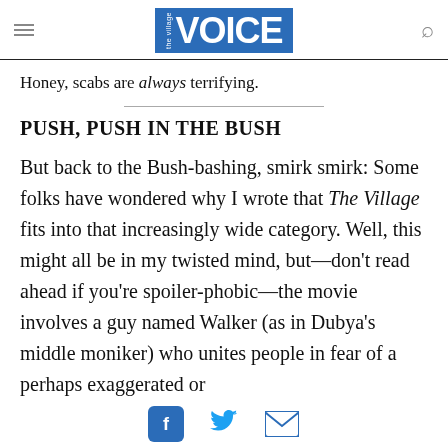the Village VOICE
Honey, scabs are always terrifying.
PUSH, PUSH IN THE BUSH
But back to the Bush-bashing, smirk smirk: Some folks have wondered why I wrote that The Village fits into that increasingly wide category. Well, this might all be in my twisted mind, but—don't read ahead if you're spoiler-phobic—the movie involves a guy named Walker (as in Dubya's middle moniker) who unites people in fear of a perhaps exaggerated or